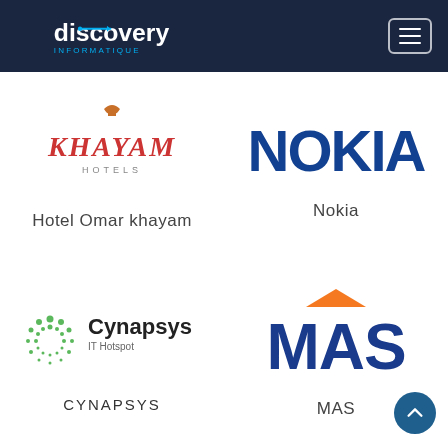Discovery Informatique
[Figure (logo): Khayam Hotels logo - stylized ornamental text in red/orange with 'HOTELS' subtitle]
Hotel Omar khayam
[Figure (logo): Nokia logo - bold blue text 'NOKIA']
Nokia
[Figure (logo): Cynapsys IT Hotspot logo - green dotted circle icon with company name]
CYNAPSYS
[Figure (logo): MAS logo - bold blue letters MAS with orange triangle/chevron above M]
MAS